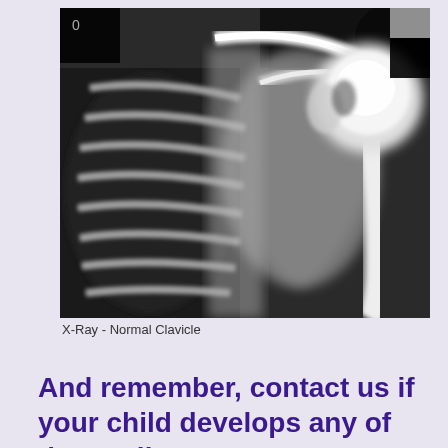[Figure (photo): X-ray image of a normal clavicle (collarbone) and shoulder region showing ribs, scapula, and humerus in grayscale]
X-Ray - Normal Clavicle
And remember, contact us if your child develops any of the "Call